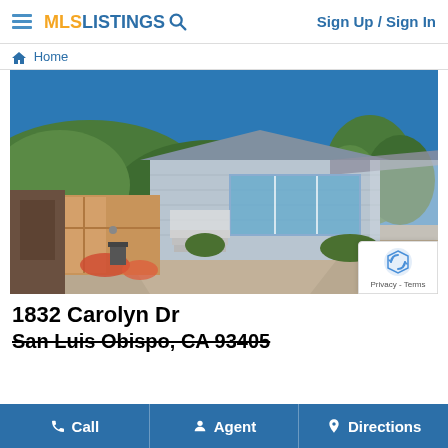MLS LISTINGS  Sign Up / Sign In
Home
[Figure (photo): Exterior photo of a light blue mobile/manufactured home with wood fence gate, white front steps, large windows, landscaping with drought-tolerant plants, and a carport. Blue sky and green hills in background. Shows 1/1 counter.]
1832 Carolyn Dr
San Luis Obispo, CA 93405
Call  Agent  Directions